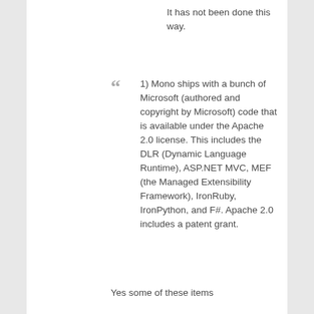It has not been done this way.
1) Mono ships with a bunch of Microsoft (authored and copyright by Microsoft) code that is available under the Apache 2.0 license. This includes the DLR (Dynamic Language Runtime), ASP.NET MVC, MEF (the Managed Extensibility Framework), IronRuby, IronPython, and F#. Apache 2.0 includes a patent grant.
Yes some of these items